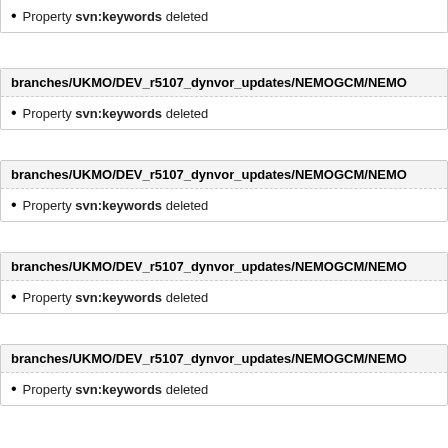branches/UKMO/DEV_r5107_dynvor_updates/NEMOGCM/NEMO
Property svn:keywords deleted
branches/UKMO/DEV_r5107_dynvor_updates/NEMOGCM/NEMO
Property svn:keywords deleted
branches/UKMO/DEV_r5107_dynvor_updates/NEMOGCM/NEMO
Property svn:keywords deleted
branches/UKMO/DEV_r5107_dynvor_updates/NEMOGCM/NEMO
Property svn:keywords deleted
branches/UKMO/DEV_r5107_dynvor_updates/NEMOGCM/NEMO
Property svn:keywords deleted